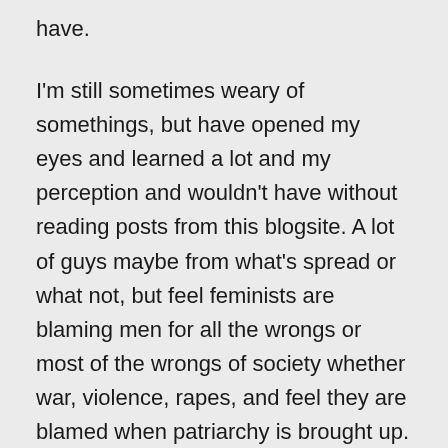have.
I'm still sometimes weary of somethings, but have opened my eyes and learned a lot and my perception and wouldn't have without reading posts from this blogsite. A lot of guys maybe from what's spread or what not, but feel feminists are blaming men for all the wrongs or most of the wrongs of society whether war, violence, rapes, and feel they are blamed when patriarchy is brought up. And feminists think the world would be better if run by women instead of men, because men are morally